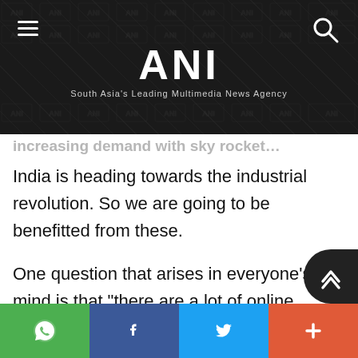ANI — South Asia's Leading Multimedia News Agency
India is heading towards the industrial revolution. So we are going to be benefitted from these.
One question that arises in everyone's mind is that "there are a lot of online portals like 99acre, magicbricks, housing, makan, IndiaProperty, No broker, Olx, and many more, so is there a need for another property portal? According to our Co-founder Pratijel